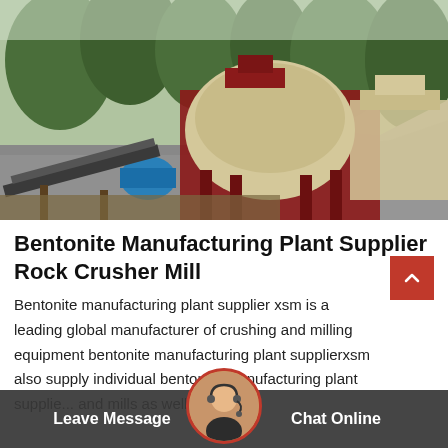[Figure (photo): Outdoor industrial rock crusher mill / bentonite manufacturing plant equipment with red metal frame, blue motor, conveyor belts, and a large pile of crushed grey stone. Trees visible in background.]
Bentonite Manufacturing Plant Supplier Rock Crusher Mill
Bentonite manufacturing plant supplier xsm is a leading global manufacturer of crushing and milling equipment bentonite manufacturing plant supplierxsm also supply individual bentonite manufacturing plant supplie... and mills as well as spare...